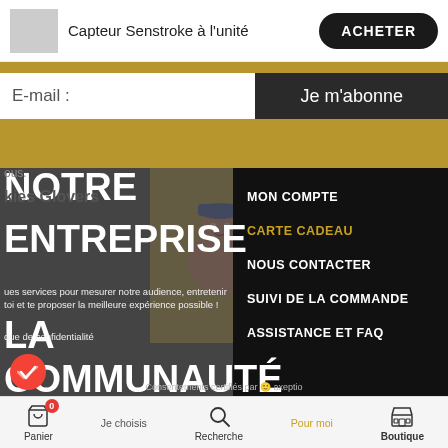Capteur Senstroke à l'unité — ACHETER
E-mail :
Je m'abonne
NOTRE ENTREPRISE LA COMMUNAUTÉ
ous.
kies Glovers
ues services pour mesurer notre audience, entretenir toi et te proposer la meilleure expérience possible !
que de confidentialité
Consentements certifiés par axeptio
MON COMPTE
CARTE CADEAU
NOUS CONTACTER
SUIVI DE LA COMMANDE
ASSISTANCE ET FAQ
Panier 0  Je choisis  Recherche  Pour moi  Boutique